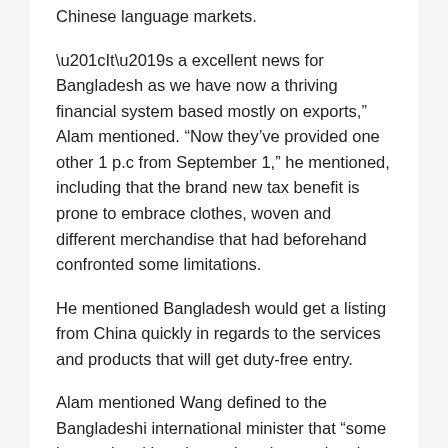Chinese language markets.
“It’s a excellent news for Bangladesh as we have now a thriving financial system based mostly on exports,” Alam mentioned. “Now they’ve provided one other 1 p.c from September 1,” he mentioned, including that the brand new tax benefit is prone to embrace clothes, woven and different merchandise that had beforehand confronted some limitations.
He mentioned Bangladesh would get a listing from China quickly in regards to the services and products that will get duty-free entry.
Alam mentioned Wang defined to the Bangladeshi international minister that “some international locations misunderstand and misread” China. He didn’t elaborate.
However Momen advised reporters individually the Chinese language minister talked about {that a} part of Taiwanese folks was being provoked in opposition to the sovereignty of China. Beijing considers self-governed